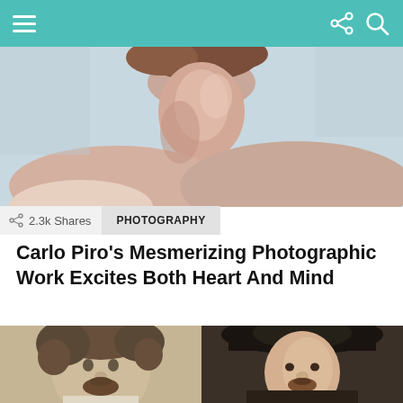Navigation bar with hamburger menu and share/search icons
[Figure (photo): Close-up photo of the back of a person's neck and bare shoulder against a light blue background]
2.3k Shares
PHOTOGRAPHY
Carlo Piro's Mesmerizing Photographic Work Excites Both Heart And Mind
[Figure (photo): Left: sketch/portrait of a man with curly hair and beard (Caravaggio self-portrait style). Right: oil painting portrait of a man wearing a wide-brimmed black hat (Rubens self-portrait style).]